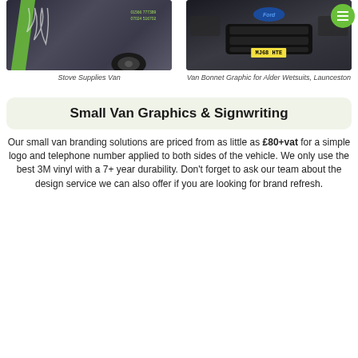[Figure (photo): Dark van with green stripe graphics and phone numbers on the side - Stove Supplies Van]
[Figure (photo): Dark Ford van photographed from the front showing bonnet graphic, registration plate MJ68 HTE, with green circular menu button overlay - Van Bonnet Graphic for Alder Wetsuits, Launceston]
Stove Supplies Van
Van Bonnet Graphic for Alder Wetsuits, Launceston
Small Van Graphics & Signwriting
Our small van branding solutions are priced from as little as £80+vat for a simple logo and telephone number applied to both sides of the vehicle. We only use the best 3M vinyl with a 7+ year durability. Don't forget to ask our team about the design service we can also offer if you are looking for brand refresh.